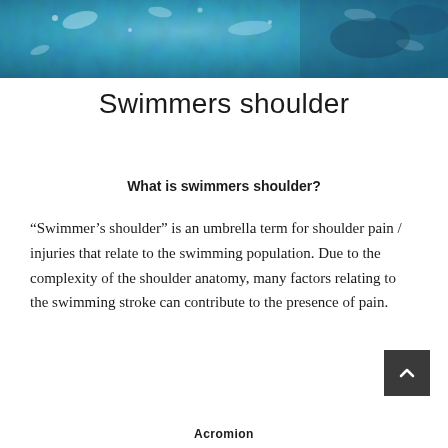[Figure (photo): Blue water/swimming pool surface texture photo used as hero banner image at top of page]
Swimmers shoulder
What is swimmers shoulder?
“Swimmer’s shoulder” is an umbrella term for shoulder pain / injuries that relate to the swimming population. Due to the complexity of the shoulder anatomy, many factors relating to the swimming stroke can contribute to the presence of pain.
Acromion